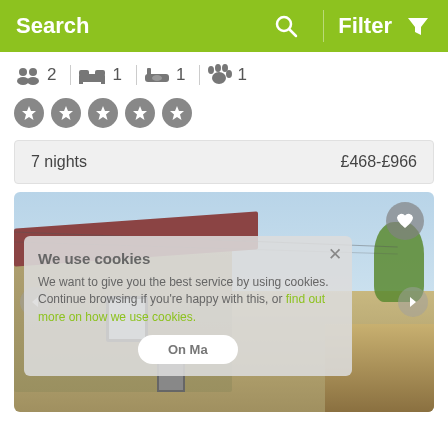Search   Filter
2 guests  1 bedroom  1 bathroom  1 pet
★★★★★ (5 star rating circles)
7 nights   £468-£966
[Figure (photo): Exterior photo of a stone cottage with terracotta roof, white window, and stone wall in foreground. Navigation arrows on sides, heart/favorite button top right. Cookie consent overlay with text: We use cookies. We want to give you the best service by using cookies. Continue browsing if you're happy with this, or find out more on how we use cookies.]
We use cookies
We want to give you the best service by using cookies. Continue browsing if you're happy with this, or find out more on how we use cookies.